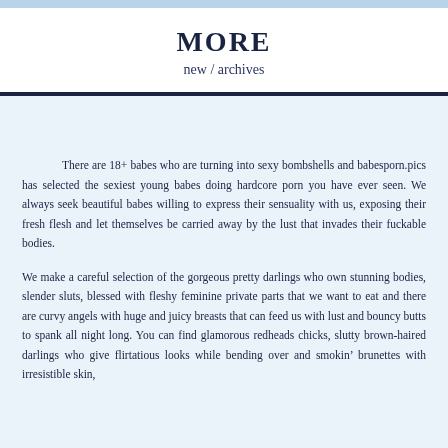MORE
new / archives
There are 18+ babes who are turning into sexy bombshells and babesporn.pics has selected the sexiest young babes doing hardcore porn you have ever seen. We always seek beautiful babes willing to express their sensuality with us, exposing their fresh flesh and let themselves be carried away by the lust that invades their fuckable bodies.
We make a careful selection of the gorgeous pretty darlings who own stunning bodies, slender sluts, blessed with fleshy feminine private parts that we want to eat and there are curvy angels with huge and juicy breasts that can feed us with lust and bouncy butts to spank all night long. You can find glamorous redheads chicks, slutty brown-haired darlings who give flirtatious looks while bending over and smokin’ brunettes with irresistible skin,